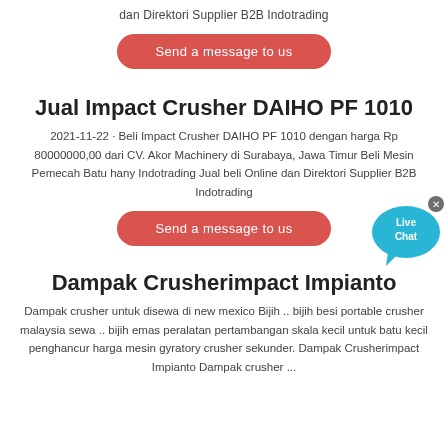dan Direktori Supplier B2B Indotrading
Send a message to us
Jual Impact Crusher DAIHO PF 1010
2021-11-22 · Beli Impact Crusher DAIHO PF 1010 dengan harga Rp 80000000,00 dari CV. Akor Machinery di Surabaya, Jawa Timur Beli Mesin Pemecah Batu hany Indotrading Jual beli Online dan Direktori Supplier B2B Indotrading
Send a message to us
Dampak Crusherimpact Impianto
Dampak crusher untuk disewa di new mexico Bijih .. bijih besi portable crusher malaysia sewa .. bijih emas peralatan pertambangan skala kecil untuk batu kecil penghancur harga mesin gyratory crusher sekunder. Dampak Crusherimpact Impianto Dampak crusher ...